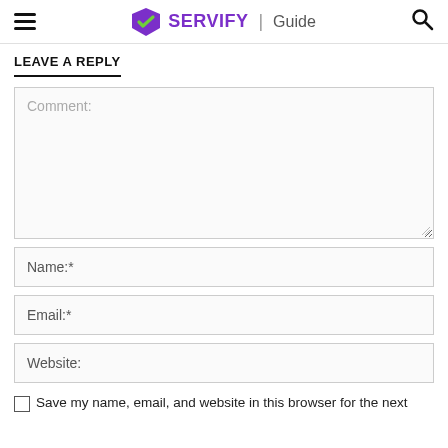SERVIFY | Guide
LEAVE A REPLY
Comment:
Name:*
Email:*
Website:
Save my name, email, and website in this browser for the next